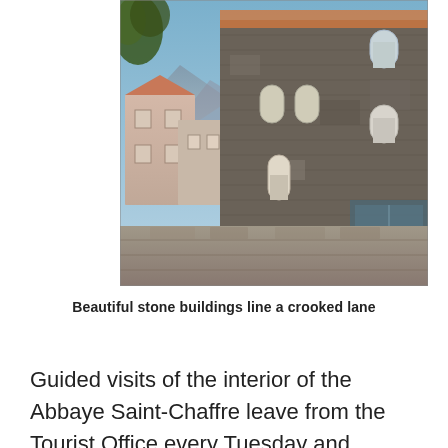[Figure (photo): A photograph of beautiful stone buildings lining a crooked lane, with a large dark stone building dominating the right side, smaller buildings visible on the left, a stone wall in the foreground, trees, and hills/mountains in the background under a blue sky.]
Beautiful stone buildings line a crooked lane
Guided visits of the interior of the Abbaye Saint-Chaffre leave from the Tourist Office every Tuesday and Thursday afternoon at three o'clock. Among the treasures you'll see is the church organ,